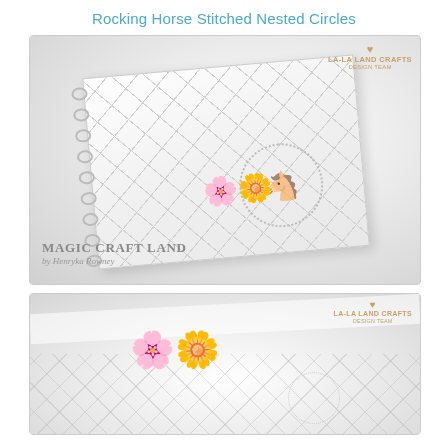Rocking Horse Stitched Nested Circles
[Figure (photo): White spiral-bound craft album with diamond quilted pattern on cover, a circular die-cut with rocking horse motif, decorated with white and green flowers. La-La Land Crafts Design Team logo in upper right. Magic Craft Land by Henryka Rowney text in lower left corner.]
[Figure (photo): Close-up detail shot of the same white craft album showing flowers and circle die-cut with rocking horse, quilted background pattern visible. La-La Land Crafts Design Team logo in upper right.]